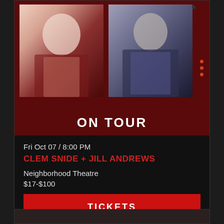[Figure (photo): Concert promotion card with two artist photos on dark red background with ON TOUR text]
ON TOUR
Fri Oct 07 / 8:00 PM
CLEM SNIDE + JILL ANDREWS
Neighborhood Theatre
$17-$100
TICKETS